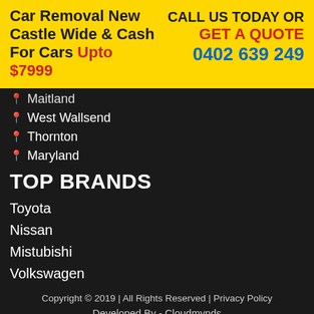Car Removal New Castle Wide & Cash For Cars Upto $7999 | CALL US TODAY OR GET A QUOTE 0402 639 249
Maitland (partial)
West Wallsend
Thornton
Maryland
TOP BRANDS
Toyota
Nissan
Mistubishi
Volkswagen
Copyright © 2019 | All Rights Reserved | Privacy Policy
Developed By - Cloudmynds
[Figure (logo): DMCA PROTECTED badge]